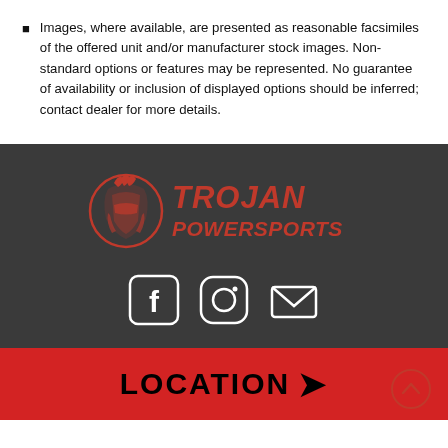Images, where available, are presented as reasonable facsimiles of the offered unit and/or manufacturer stock images. Non-standard options or features may be represented. No guarantee of availability or inclusion of displayed options should be inferred; contact dealer for more details.
[Figure (logo): Trojan Powersports logo — red helmet with feathers and red italicized text reading TROJAN POWERSPORTS]
[Figure (infographic): Social media icons: Facebook, Instagram, Email on dark background]
LOCATION >